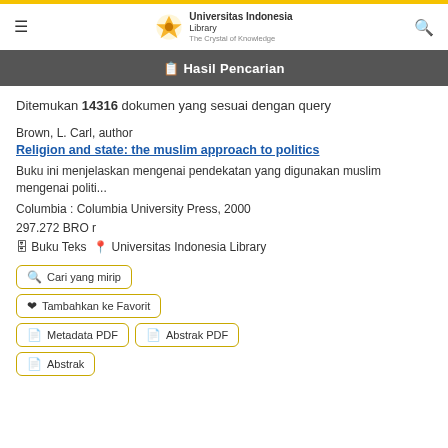Universitas Indonesia Library - The Crystal of Knowledge
Hasil Pencarian
Ditemukan 14316 dokumen yang sesuai dengan query
Brown, L. Carl, author
Religion and state: the muslim approach to politics
Buku ini menjelaskan mengenai pendekatan yang digunakan muslim mengenai politi...
Columbia : Columbia University Press, 2000
297.272 BRO r
Buku Teks  Universitas Indonesia Library
Cari yang mirip
Tambahkan ke Favorit
Metadata PDF
Abstrak PDF
Abstrak